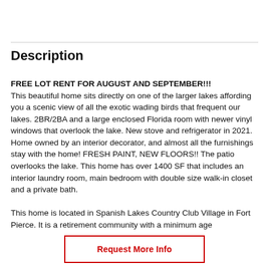Description
FREE LOT RENT FOR AUGUST AND SEPTEMBER!!! This beautiful home sits directly on one of the larger lakes affording you a scenic view of all the exotic wading birds that frequent our lakes. 2BR/2BA and a large enclosed Florida room with newer vinyl windows that overlook the lake. New stove and refrigerator in 2021. Home owned by an interior decorator, and almost all the furnishings stay with the home! FRESH PAINT, NEW FLOORS!! The patio overlooks the lake. This home has over 1400 SF that includes an interior laundry room, main bedroom with double size walk-in closet and a private bath.

This home is located in Spanish Lakes Country Club Village in Fort Pierce. It is a retirement community with a minimum age
Request More Info